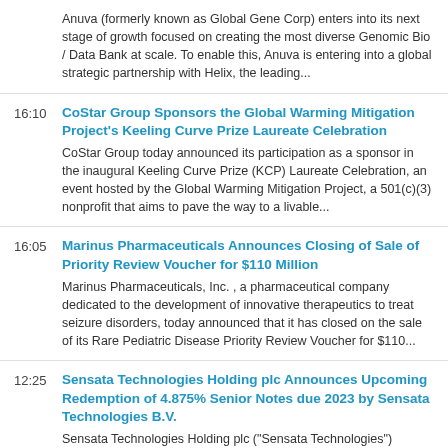Anuva (formerly known as Global Gene Corp) enters into its next stage of growth focused on creating the most diverse Genomic Bio / Data Bank at scale. To enable this, Anuva is entering into a global strategic partnership with Helix, the leading...
16:10
CoStar Group Sponsors the Global Warming Mitigation Project's Keeling Curve Prize Laureate Celebration
CoStar Group today announced its participation as a sponsor in the inaugural Keeling Curve Prize (KCP) Laureate Celebration, an event hosted by the Global Warming Mitigation Project, a 501(c)(3) nonprofit that aims to pave the way to a livable...
16:05
Marinus Pharmaceuticals Announces Closing of Sale of Priority Review Voucher for $110 Million
Marinus Pharmaceuticals, Inc. , a pharmaceutical company dedicated to the development of innovative therapeutics to treat seizure disorders, today announced that it has closed on the sale of its Rare Pediatric Disease Priority Review Voucher for $110...
12:25
Sensata Technologies Holding plc Announces Upcoming Redemption of 4.875% Senior Notes due 2023 by Sensata Technologies B.V.
Sensata Technologies Holding plc ("Sensata Technologies") today...